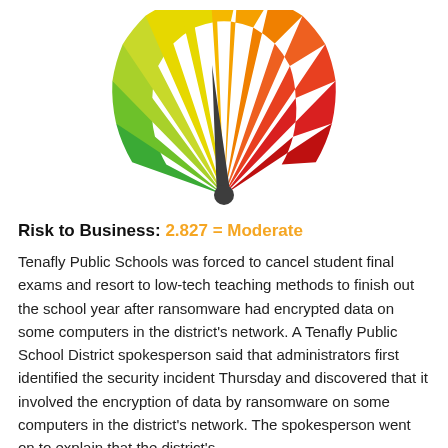[Figure (other): Gauge/speedometer chart showing risk level. The needle points roughly to the middle (moderate zone). The arc has colored segments from green on the left through yellow, orange to red on the right.]
Risk to Business: 2.827 = Moderate
Tenafly Public Schools was forced to cancel student final exams and resort to low-tech teaching methods to finish out the school year after ransomware had encrypted data on some computers in the district's network. A Tenafly Public School District spokesperson said that administrators first identified the security incident Thursday and discovered that it involved the encryption of data by ransomware on some computers in the district's network. The spokesperson went on to explain that the district's